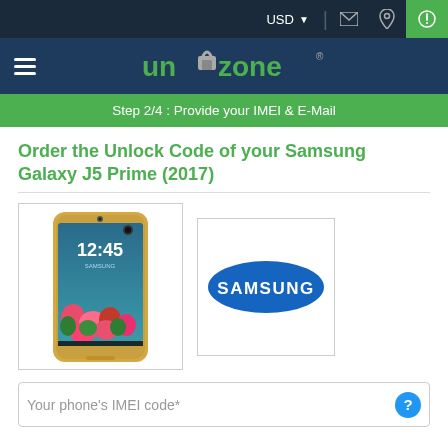USD
[Figure (logo): Unlockzone logo with padlock icon between 'un' and 'zone']
Step 2/4 : Provide your IMEI & E-Mail
Order the Unlock Code of your Samsung Galaxy J5 Prime (2017)
[Figure (photo): Samsung Galaxy J5 Prime (2017) smartphone in gold color showing 12:45 on screen with floral background]
[Figure (logo): Samsung brand logo in blue oval shape on white background]
Your phone's IMEI code*